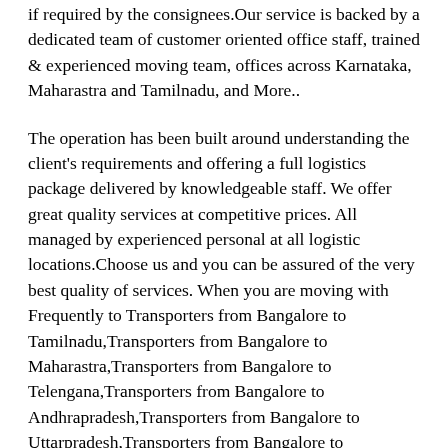if required by the consignees.Our service is backed by a dedicated team of customer oriented office staff, trained & experienced moving team, offices across Karnataka, Maharastra and Tamilnadu, and More..
The operation has been built around understanding the client's requirements and offering a full logistics package delivered by knowledgeable staff. We offer great quality services at competitive prices. All managed by experienced personal at all logistic locations.Choose us and you can be assured of the very best quality of services. When you are moving with Frequently to Transporters from Bangalore to Tamilnadu,Transporters from Bangalore to Maharastra,Transporters from Bangalore to Telengana,Transporters from Bangalore to Andhrapradesh,Transporters from Bangalore to Uttarpradesh,Transporters from Bangalore to WestBengal,Transporters from Bangalore to